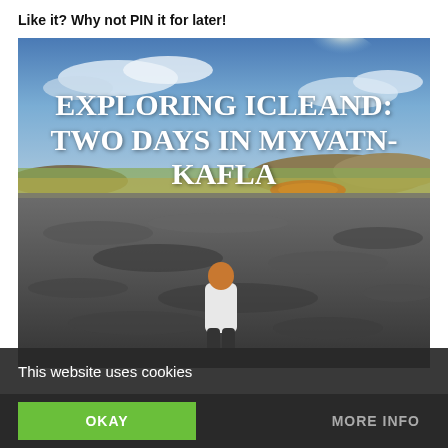Like it? Why not PIN it for later!
[Figure (photo): A person with red/blonde hair wearing a white hoodie and dark pants stands on volcanic lava rock, looking out over a vast landscape with golden fields, a distant lake with orange/mineral coloring, hills, and a dramatic blue sky with clouds. Text overlay reads 'EXPLORING ICLEAND: TWO DAYS IN MYVATN-KAFLA'.]
This website uses cookies
OKAY
MORE INFO